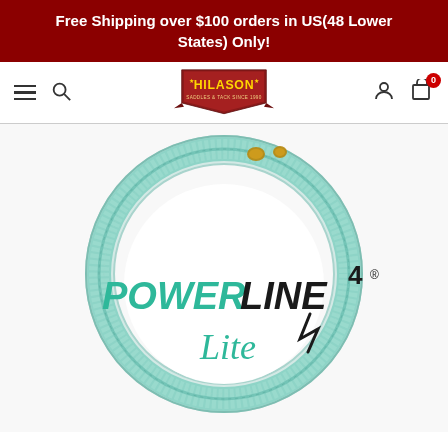Free Shipping over $100 orders in US(48 Lower States) Only!
[Figure (logo): Hilason brand logo with yellow text and decorative banner ribbon]
[Figure (photo): Teal/mint colored braided rope coiled in a circle with PowerLine 4 Lite brand logo in the center. The logo has green text for POWER and Lite, black text for LINE, with a superscript 4 and registered trademark symbol.]